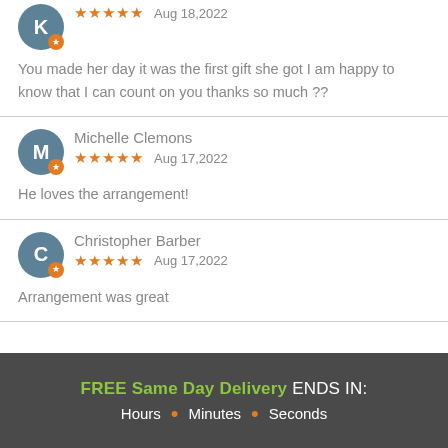You made her day it was the first gift she got I am happy to know that I can count on you thanks so much ??
Michelle Clemons
★★★★★  Aug 17,2022
He loves the arrangement!
Christopher Barber
★★★★★  Aug 17,2022
Arrangement was great
FREE Same Day Delivery ENDS IN:
Hours • Minutes • Seconds